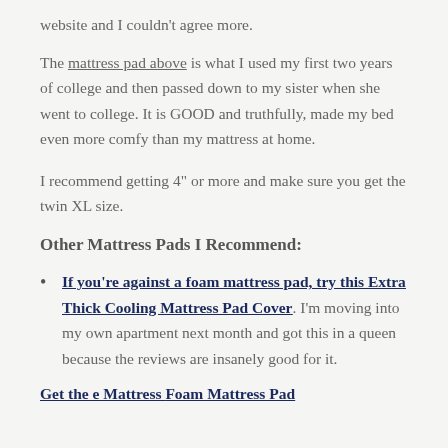website and I couldn't agree more.
The mattress pad above is what I used my first two years of college and then passed down to my sister when she went to college. It is GOOD and truthfully, made my bed even more comfy than my mattress at home.
I recommend getting 4" or more and make sure you get the twin XL size.
Other Mattress Pads I Recommend:
If you're against a foam mattress pad, try this Extra Thick Cooling Mattress Pad Cover. I'm moving into my own apartment next month and got this in a queen because the reviews are insanely good for it.
Get the e Mattress Foam Mattress Pad...